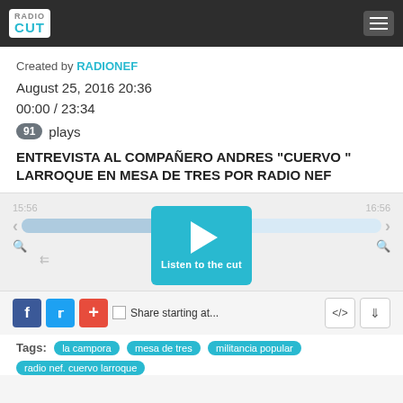[Figure (logo): RadioCut logo in white box on dark header bar, with hamburger menu icon on the right]
Created by RADIONEF
August 25, 2016 20:36
00:00 / 23:34
91 plays
ENTREVISTA AL COMPAÑERO ANDRES "CUERVO " LARROQUE EN MESA DE TRES POR RADIO NEF
[Figure (screenshot): Audio player with timestamp bar showing 15:56 to 16:56, play button with 'Listen to the cut' label, zoom and rewind controls]
Share starting at...
Tags: la campora  mesa de tres  militancia popular  radio nef. cuervo larroque